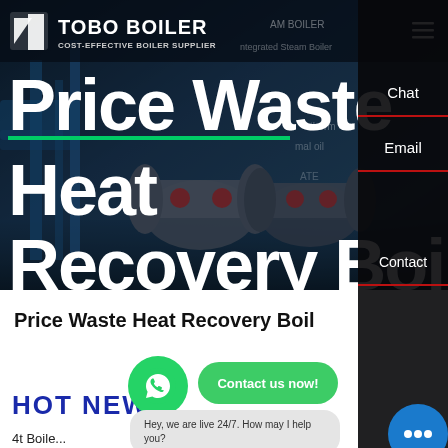[Figure (screenshot): TOBO BOILER website hero banner showing industrial boiler equipment with navigation bar and large headline text 'Price Waste Heat Recovery Boiler']
TOBO BOILER — COST-EFFECTIVE BOILER SUPPLIER
Price Waste Heat Recovery Boiler
Price Waste Heat Recovery Boil
HOT NEWS
Hey, we are live 24/7. How may I help you?
At Boile...